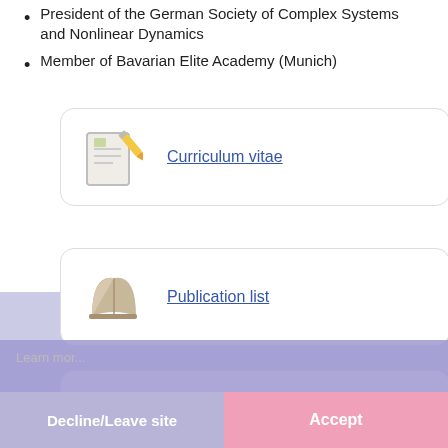President of the German Society of Complex Systems and Nonlinear Dynamics
Member of Bavarian Elite Academy (Munich)
[Figure (illustration): Card with CV document icon linking to Curriculum vitae]
[Figure (illustration): Card with book icon linking to Publication list]
[Figure (illustration): Card with camera icon linking to Interests and research]
[Figure (screenshot): Cookie consent overlay with Decline/Leave site and Accept buttons]
[Figure (illustration): Partial card with database icon linking to Other information]